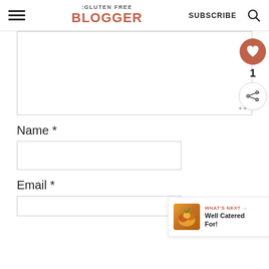THE GLUTEN FREE BLOGGER | SUBSCRIBE
[Figure (screenshot): Comment textarea box with resize handle]
Name *
[Figure (screenshot): Name input field]
Email *
[Figure (screenshot): Email input field]
[Figure (infographic): Floating right panel with heart button (count: 1), share button, and What's Next banner linking to Well Catered For!]